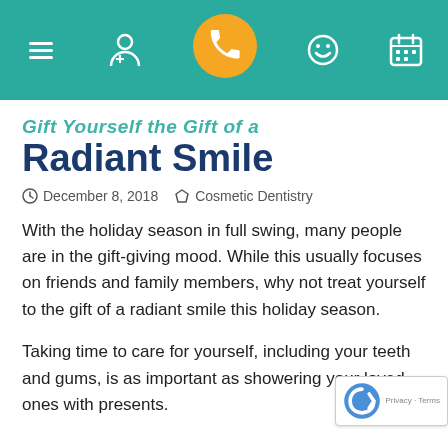[Figure (other): Navigation bar with teal background showing hamburger menu, doctor icon, phone icon in orange circle, smiley face icon, and calendar icon]
Gift Yourself the Gift of a Radiant Smile
December 8, 2018   Cosmetic Dentistry
With the holiday season in full swing, many people are in the gift-giving mood. While this usually focuses on friends and family members, why not treat yourself to the gift of a radiant smile this holiday season.
Taking time to care for yourself, including your teeth and gums, is as important as showering your loved ones with presents.